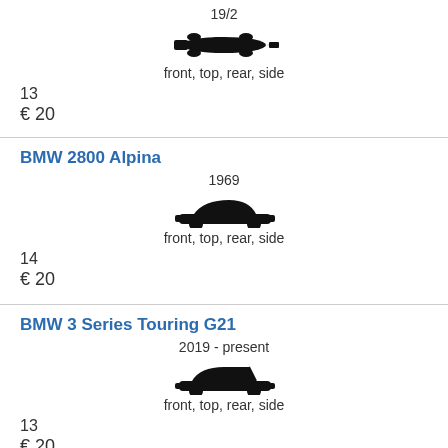19/2
[Figure (illustration): Silhouette of a racing car (top view)]
front, top, rear, side
13
€ 20
BMW 2800 Alpina
1969
[Figure (illustration): Silhouette of a sedan car (side view)]
front, top, rear, side
14
€ 20
BMW 3 Series Touring G21
2019 - present
[Figure (illustration): Silhouette of a touring/estate car (side view)]
front, top, rear, side
13
€ 20